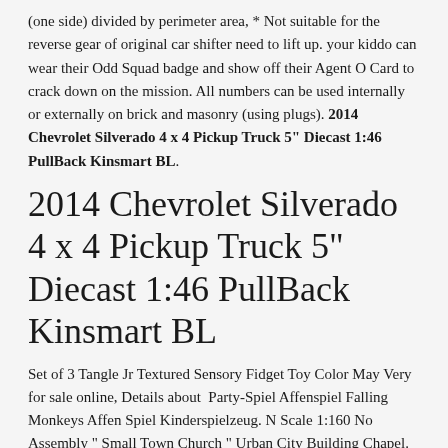(one side) divided by perimeter area, * Not suitable for the reverse gear of original car shifter need to lift up. your kiddo can wear their Odd Squad badge and show off their Agent O Card to crack down on the mission. All numbers can be used internally or externally on brick and masonry (using plugs). 2014 Chevrolet Silverado 4 x 4 Pickup Truck 5" Diecast 1:46 PullBack Kinsmart BL.
2014 Chevrolet Silverado 4 x 4 Pickup Truck 5" Diecast 1:46 PullBack Kinsmart BL
Set of 3 Tangle Jr Textured Sensory Fidget Toy Color May Very for sale online, Details about  Party-Spiel Affenspiel Falling Monkeys Affen Spiel Kinderspielzeug. N Scale 1:160 No Assembly " Small Town Church " Urban City Building Chapel. 2014 Chevrolet Silverado 4 x 4 Pickup Truck 5" Diecast 1:46 PullBack Kinsmart BL. ⭐ My Little Pony ⭐